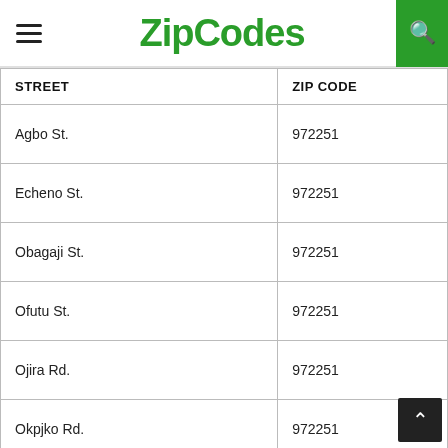ZipCodes
| STREET | ZIP CODE |
| --- | --- |
| Agbo St. | 972251 |
| Echeno St. | 972251 |
| Obagaji St. | 972251 |
| Ofutu St. | 972251 |
| Ojira Rd. | 972251 |
| Okpjko Rd. | 972251 |
| Opega St. | 972251 |
| Owukpa St. | 972251 |
| Rice Mill Rd. | 972251 |